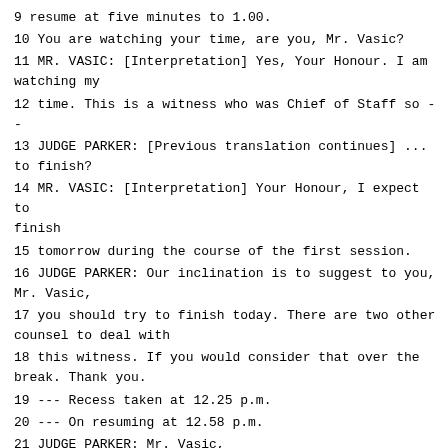9 resume at five minutes to 1.00.
10 You are watching your time, are you, Mr. Vasic?
11 MR. VASIC: [Interpretation] Yes, Your Honour. I am watching my
12 time. This is a witness who was Chief of Staff so --
13 JUDGE PARKER: [Previous translation continues] ... to finish?
14 MR. VASIC: [Interpretation] Your Honour, I expect to finish
15 tomorrow during the course of the first session.
16 JUDGE PARKER: Our inclination is to suggest to you, Mr. Vasic,
17 you should try to finish today. There are two other counsel to deal with
18 this witness. If you would consider that over the break. Thank you.
19 --- Recess taken at 12.25 p.m.
20 --- On resuming at 12.58 p.m.
21 JUDGE PARKER: Mr. Vasic,